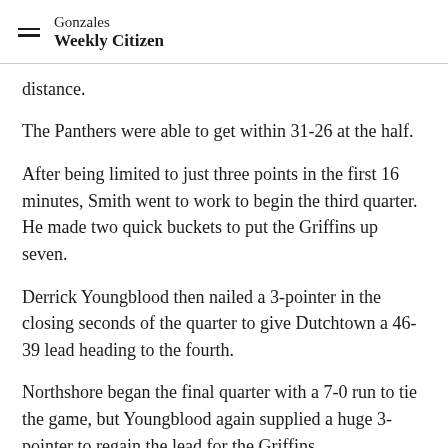Gonzales Weekly Citizen
distance.
The Panthers were able to get within 31-26 at the half.
After being limited to just three points in the first 16 minutes, Smith went to work to begin the third quarter. He made two quick buckets to put the Griffins up seven.
Derrick Youngblood then nailed a 3-pointer in the closing seconds of the quarter to give Dutchtown a 46-39 lead heading to the fourth.
Northshore began the final quarter with a 7-0 run to tie the game, but Youngblood again supplied a huge 3-pointer to regain the lead for the Griffins.